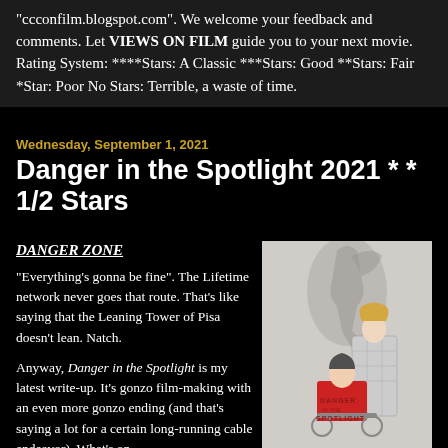"ccconfilm.blogspot.com". We welcome your feedback and comments. Let VIEWS ON FILM guide you to your next movie. Rating System: ****Stars: A Classic ***Stars: Good **Stars: Fair *Star: Poor No Stars: Terrible, a waste of time.
Wednesday, September 1, 2021
Danger in the Spotlight 2021 * * 1/2 Stars
DANGER ZONE
"Everything's gonna be fine". The Lifetime network never goes that route. That's like saying that the Leaning Tower of Pisa doesn't lean. Natch.
[Figure (photo): Movie poster for Danger in the Spotlight showing two women, one in a wheelchair wearing a red top, and one standing behind her in a plaid shirt, with a ballet dancer silhouette shadow on the wall]
Anyway, Danger in the Spotlight is my latest write-up. It's gonzo film-making with an even more gonzo ending (and that's saying a lot for a certain long-running cable endeavor). What's on